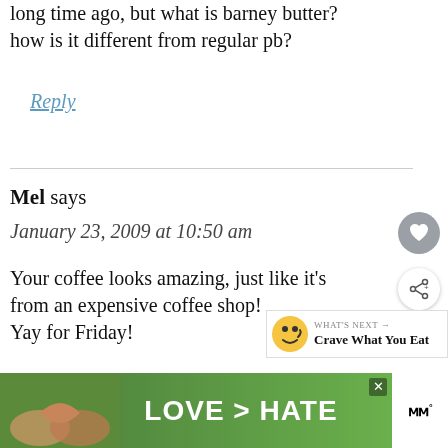long time ago, but what is barney butter? how is it different from regular pb?
Reply
Mel says
January 23, 2009 at 10:50 am
Your coffee looks amazing, just like it's from an expensive coffee shop!

Yay for Friday!
[Figure (infographic): Advertisement banner showing hands forming a heart shape with text LOVE > HATE on a green background, with a close button and Tidal logo on the right]
[Figure (infographic): What's Next widget with emoji face and text: Crave What You Eat]